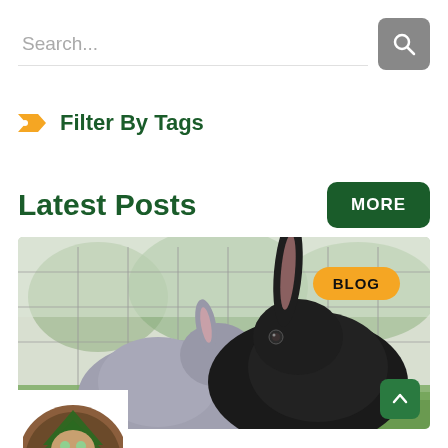Search...
Filter By Tags
Latest Posts
[Figure (photo): Two rabbits — one grey, one black — sitting together in a wire cage on grass with trees in the background. A yellow 'BLOG' badge overlays the top right area of the photo.]
[Figure (logo): Circular logo with a raccoon or animal face surrounded by a pine tree motif, brown and green colors, partially visible at the bottom left.]